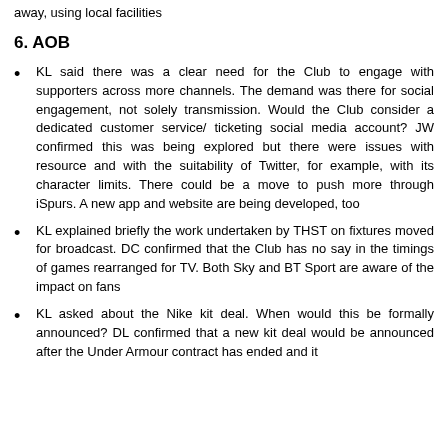away, using local facilities
6. AOB
KL said there was a clear need for the Club to engage with supporters across more channels. The demand was there for social engagement, not solely transmission. Would the Club consider a dedicated customer service/ ticketing social media account? JW confirmed this was being explored but there were issues with resource and with the suitability of Twitter, for example, with its character limits. There could be a move to push more through iSpurs. A new app and website are being developed, too
KL explained briefly the work undertaken by THST on fixtures moved for broadcast. DC confirmed that the Club has no say in the timings of games rearranged for TV. Both Sky and BT Sport are aware of the impact on fans
KL asked about the Nike kit deal. When would this be formally announced? DL confirmed that a new kit deal would be announced after the Under Armour contract has ended and it